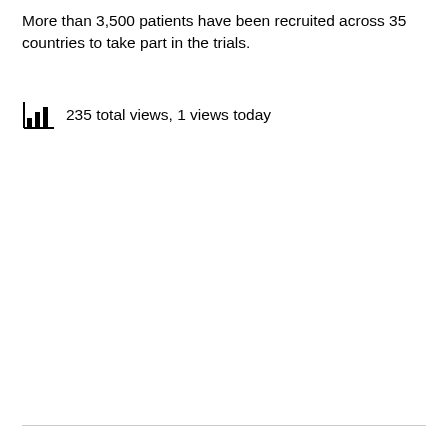More than 3,500 patients have been recruited across 35 countries to take part in the trials.
235 total views,  1 views today